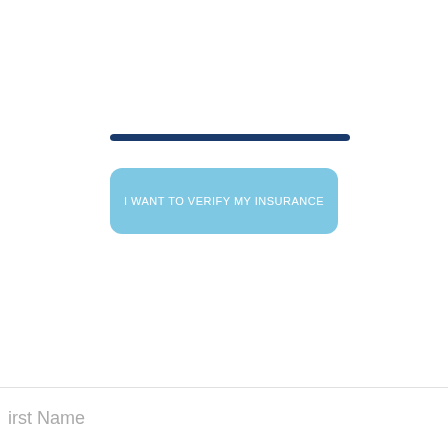[Figure (screenshot): A dark navy blue horizontal bar/divider element centered on the page, appearing as a button or separator graphic.]
I WANT TO VERIFY MY INSURANCE
irst Name